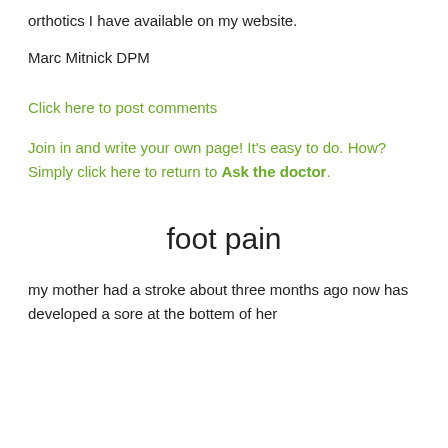orthotics I have available on my website.
Marc Mitnick DPM
Click here to post comments
Join in and write your own page! It's easy to do. How? Simply click here to return to Ask the doctor.
foot pain
my mother had a stroke about three months ago now has developed a sore at the bottem of her